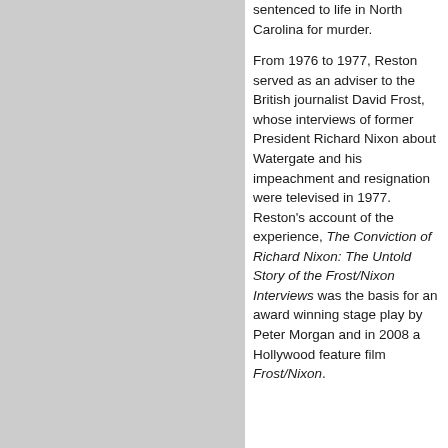sentenced to life in North Carolina for murder.

From 1976 to 1977, Reston served as an adviser to the British journalist David Frost, whose interviews of former President Richard Nixon about Watergate and his impeachment and resignation were televised in 1977. Reston's account of the experience, The Conviction of Richard Nixon: The Untold Story of the Frost/Nixon Interviews was the basis for an award winning stage play by Peter Morgan and in 2008 a Hollywood feature film Frost/Nixon.